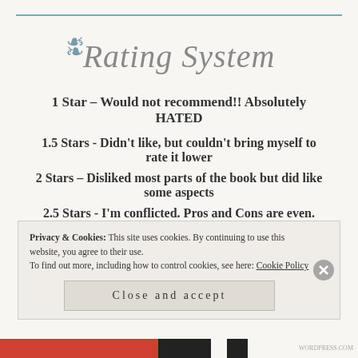Rating System
1 Star – Would not recommend!! Absolutely HATED
1.5 Stars - Didn't like, but couldn't bring myself to rate it lower
2 Stars – Disliked most parts of the book but did like some aspects
2.5 Stars - I'm conflicted. Pros and Cons are even.
Privacy & Cookies: This site uses cookies. By continuing to use this website, you agree to their use. To find out more, including how to control cookies, see here: Cookie Policy
Close and accept